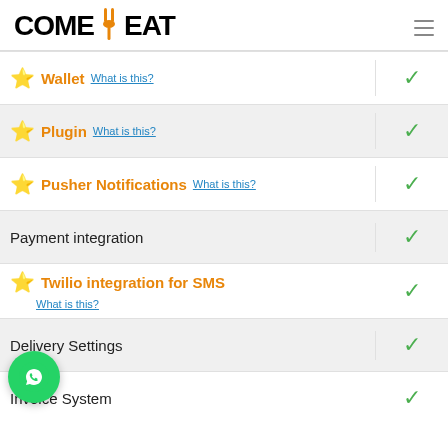COMEAT (with icon)
Wallet - What is this? [checkmark]
Plugin - What is this? [checkmark]
Pusher Notifications - What is this? [checkmark]
Payment integration [checkmark]
Twilio integration for SMS - What is this? [checkmark]
Delivery Settings [checkmark]
Invoice System [checkmark]